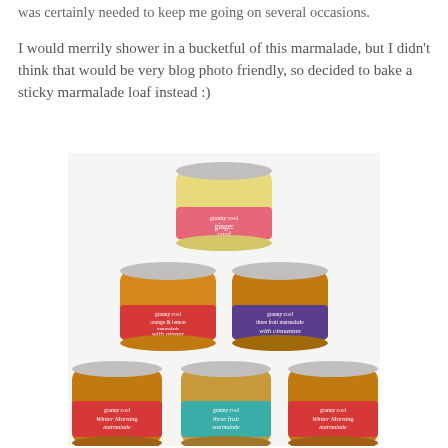was certainly needed to keep me going on several occasions.
I would merrily shower in a bucketful of this marmalade, but I didn't think that would be very blog photo friendly, so decided to bake a sticky marmalade loaf instead :)
[Figure (photo): A pyramid stack of six small glass jam/marmalade jars with branded labels from 'Granny Cool'. Top jar has a pink label reading 'ginger curd'. Middle row: left jar has red label 'orange & lemon marmalade with ginger', right jar has purple label 'three fruit marmalade with cinnamon'. Bottom row: left jar red label 'Winter Morning marmalade', centre jar teal label 'three fruit marmalade', right jar red label 'Winter Morning marmalade'.]